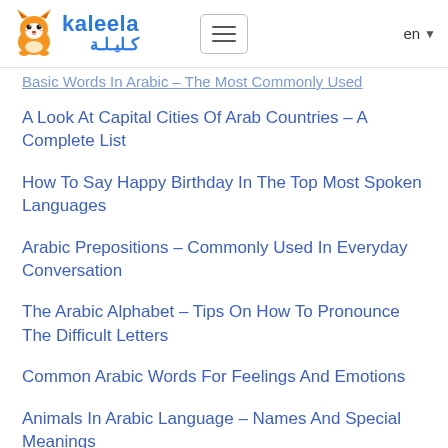kaleela كليلة — en
Basic Words In Arabic – The Most Commonly Used
A Look At Capital Cities Of Arab Countries – A Complete List
How To Say Happy Birthday In The Top Most Spoken Languages
Arabic Prepositions – Commonly Used In Everyday Conversation
The Arabic Alphabet – Tips On How To Pronounce The Difficult Letters
Common Arabic Words For Feelings And Emotions
Animals In Arabic Language – Names And Special Meanings
Egyptian Clothing – What Modern Day Egyptians